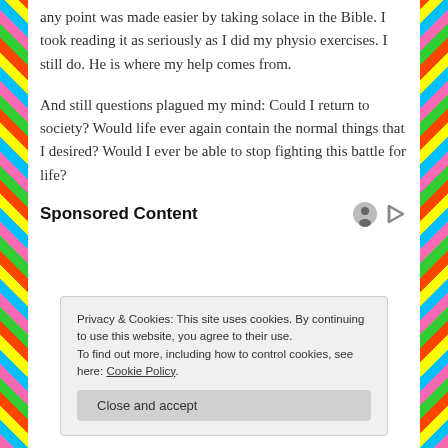any point was made easier by taking solace in the Bible. I took reading it as seriously as I did my physio exercises. I still do. He is where my help comes from.
And still questions plagued my mind: Could I return to society? Would life ever again contain the normal things that I desired? Would I ever be able to stop fighting this battle for life?
Sponsored Content
Privacy & Cookies: This site uses cookies. By continuing to use this website, you agree to their use.
To find out more, including how to control cookies, see here: Cookie Policy